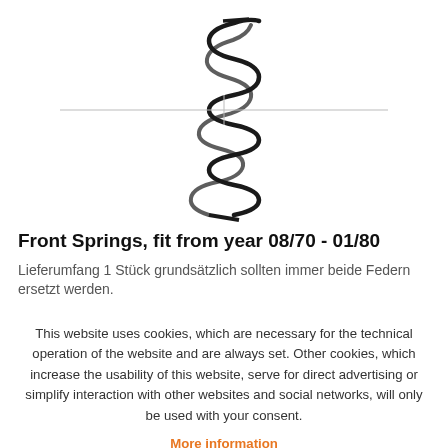[Figure (photo): A coil spring (front spring) shown vertically, with crosshair lines behind it. The spring has tightly wound coils at the bottom and more loosely wound at the top.]
Front Springs, fit from year 08/70 - 01/80
Lieferumfang 1 Stück grundsätzlich sollten immer beide Federn ersetzt werden.
This website uses cookies, which are necessary for the technical operation of the website and are always set. Other cookies, which increase the usability of this website, serve for direct advertising or simplify interaction with other websites and social networks, will only be used with your consent.
More information
Accept all
Configure